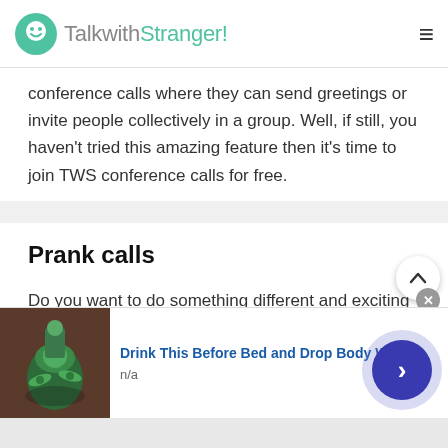TalkwithStranger!
conference calls where they can send greetings or invite people collectively in a group. Well, if still, you haven't tried this amazing feature then it's time to join TWS conference calls for free.
Prank calls
Do you want to do something different and exciting to have fun with friends? Why not make prank calls? Yes, it's absolutely a great idea as this will help you enjoy things in a better way. TWS is considered as
[Figure (photo): Advertisement banner showing a drink with cucumber slices. Ad title: Drink This Before Bed and Drop Body Weight. Subtitle: n/a]
Drink This Before Bed and Drop Body Weight
n/a